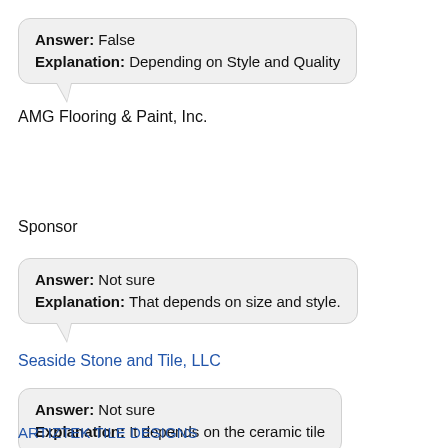Answer: False
Explanation: Depending on Style and Quality
AMG Flooring & Paint, Inc.
Sponsor
Answer: Not sure
Explanation: That depends on size and style.
Seaside Stone and Tile, LLC
Answer: Not sure
Explanation: It depends on the ceramic tile
ARTIZTEK TILE DESIGNS